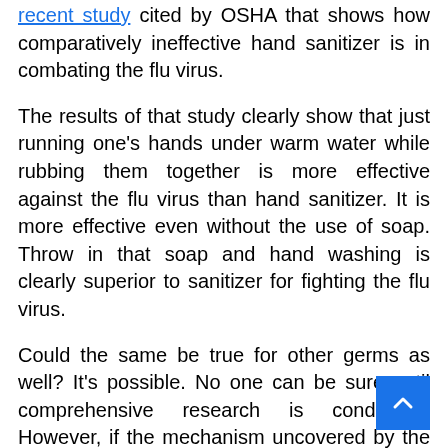recent study cited by OSHA that shows how comparatively ineffective hand sanitizer is in combating the flu virus.
The results of that study clearly show that just running one's hands under warm water while rubbing them together is more effective against the flu virus than hand sanitizer. It is more effective even without the use of soap. Throw in that soap and hand washing is clearly superior to sanitizer for fighting the flu virus.
Could the same be true for other germs as well? It's possible. No one can be sure until comprehensive research is conducted. However, if the mechanism uncovered by the OSHA-cited study applies to other germs, it could very well be hand sanitizer isn't as effective as we think.